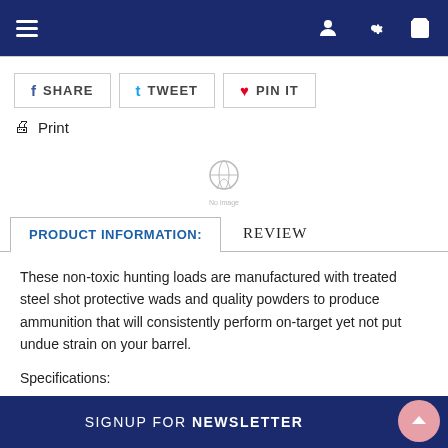Navigation bar with hamburger menu, user, settings, and cart icons
SHARE
TWEET
PIN IT
Print
[Figure (other): Placeholder image icon in the center of the page]
PRODUCT INFORMATION:
REVIEW
These non-toxic hunting loads are manufactured with treated steel shot protective wads and quality powders to produce ammunition that will consistently perform on-target yet not put undue strain on your barrel.
Specifications:
- Gauge:
SIGNUP FOR NEWSLETTER